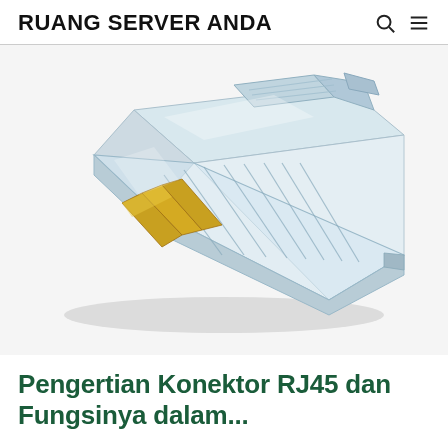RUANG SERVER ANDA
[Figure (photo): A transparent RJ45 connector plug with gold-plated pins visible at the front, photographed on a white background. The clear plastic body shows internal wire channels and a locking tab on top.]
Pengertian Konektor RJ45 dan Fungsinya dalam...